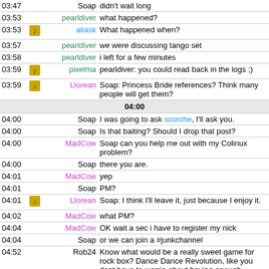| Time | Icon | User | Message |
| --- | --- | --- | --- |
| 03:47 |  | Soap | didn't wait long |
| 03:53 |  | pearldiver | what happened? |
| 03:53 | [icon] | aliask | What happened when? |
| 03:57 |  | pearldiver | we were discussing tango set |
| 03:58 |  | pearldiver | i left for a few minutes |
| 03:59 | [icon] | pixelma | pearldiver: you could read back in the logs ;) |
| 03:59 | [icon] | Llorean | Soap: Princess Bride references? Think many people will get them? |
| 04:00 (separator) |  |  |  |
| 04:00 |  | Soap | I was going to ask scorche, I'll ask you. |
| 04:00 |  | Soap | Is that baiting? Should I drop that post? |
| 04:00 |  | MadCow | Soap can you help me out with my Colinux problem? |
| 04:00 |  | Soap | there you are. |
| 04:01 |  | MadCow | yep |
| 04:01 |  | Soap | PM? |
| 04:01 | [icon] | Llorean | Soap: I think I'll leave it, just because I enjoy it. |
| 04:02 |  | MadCow | what PM? |
| 04:04 |  | MadCow | OK wait a sec i have to register my nick |
| 04:04 |  | Soap | or we can join a #junkchannel |
| 04:52 |  | Rob24 | Know what would be a really sweet game for rock box? Dance Dance Revolution, like you dont have to worrie about having enough buttons all you need is like 4/5 |
| 04:53 |  | Soap | just have to worry about breaking buttons. |
| 04:53 |  | Soap | ;) |